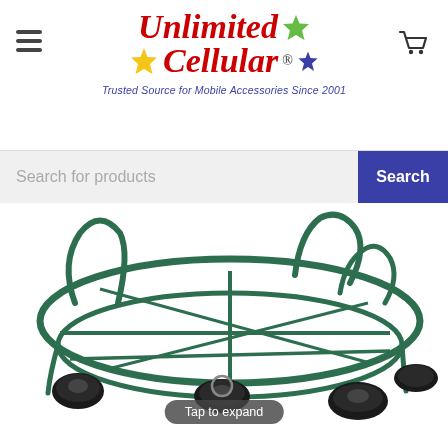[Figure (logo): Unlimited Cellular logo with stars and tagline 'Trusted Source for Mobile Accessories Since 2001']
[Figure (other): Search bar with 'Search for products' placeholder and blue Search button]
[Figure (photo): Green wire plant caddy/stand on wheels (casters), circular frame with multiple black rubber caster wheels, top-down angled view on white background]
Tap to expand